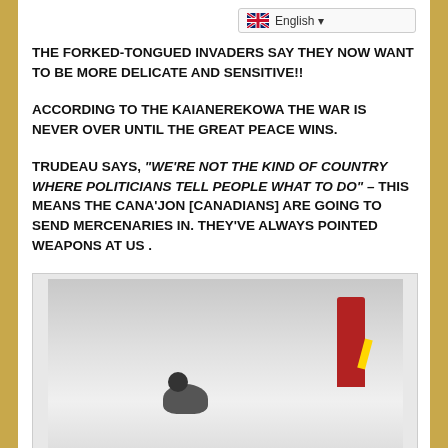THE FORKED-TONGUED INVADERS SAY THEY NOW WANT TO BE MORE DELICATE AND SENSITIVE!!
ACCORDING TO THE KAIANEREKOWA THE WAR IS NEVER OVER UNTIL THE GREAT PEACE WINS.
TRUDEAU SAYS, “WE’RE NOT THE KIND OF COUNTRY WHERE POLITICIANS TELL PEOPLE WHAT TO DO” – THIS MEANS THE CANA’JON [CANADIANS] ARE GOING TO SEND MERCENARIES IN. THEY’VE ALWAYS POINTED WEAPONS AT US .
[Figure (photo): Outdoor snowy scene with a person lying or crouching on the ground and a red-draped figure or flag visible on the right side]